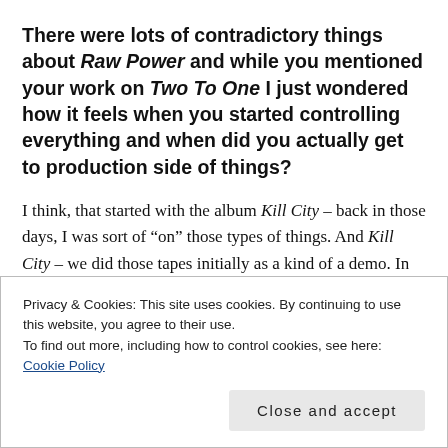There were lots of contradictory things about Raw Power and while you mentioned your work on Two To One I just wondered how it feels when you started controlling everything and when did you actually get to production side of things?
I think, that started with the album Kill City – back in those days, I was sort of “on” those types of things. And Kill City – we did those tapes initially as a kind of a demo. In order to finish the record, Grew Shaw
Privacy & Cookies: This site uses cookies. By continuing to use this website, you agree to their use.
To find out more, including how to control cookies, see here:
Cookie Policy
Close and accept